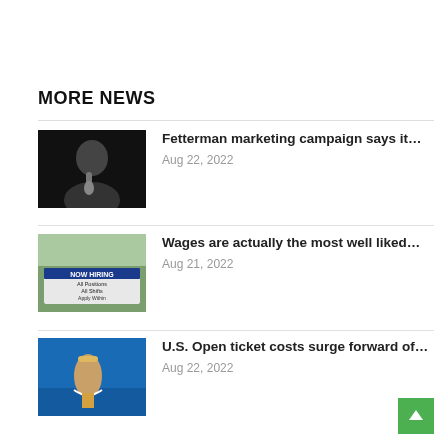MORE NEWS
[Figure (photo): Man speaking at a microphone, dark background]
Fetterman marketing campaign says it…
Aug 22, 2022
[Figure (photo): NOW HIRING All Positions All Shifts sign in front of a building]
Wages are actually the most well liked…
Aug 21, 2022
[Figure (photo): Tennis player celebrating at U.S. Open]
U.S. Open ticket costs surge forward of…
Aug 22, 2022